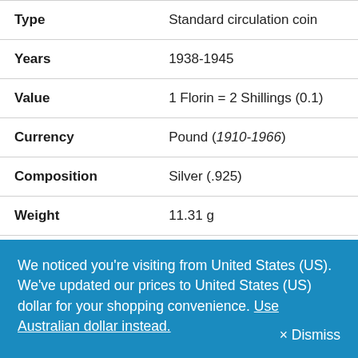|  |  |
| --- | --- |
| Type | Standard circulation coin |
| Years | 1938-1945 |
| Value | 1 Florin = 2 Shillings (0.1) |
| Currency | Pound (1910-1966) |
| Composition | Silver (.925) |
| Weight | 11.31 g |
| Diameter | 28.5 mm |
We noticed you're visiting from United States (US). We've updated our prices to United States (US) dollar for your shopping convenience. Use Australian dollar instead. × Dismiss